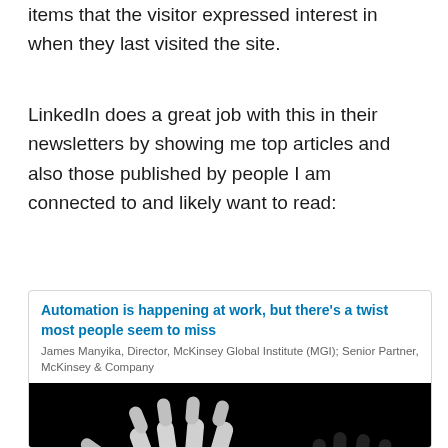items that the visitor expressed interest in when they last visited the site.
LinkedIn does a great job with this in their newsletters by showing me top articles and also those published by people I am connected to and likely want to read:
[Figure (screenshot): LinkedIn article card showing 'Automation is happening at work, but there's a twist most people seem to miss' by James Manyika, Director, McKinsey Global Institute (MGI); Senior Partner, McKinsey & Company, with a robotic hand image below]